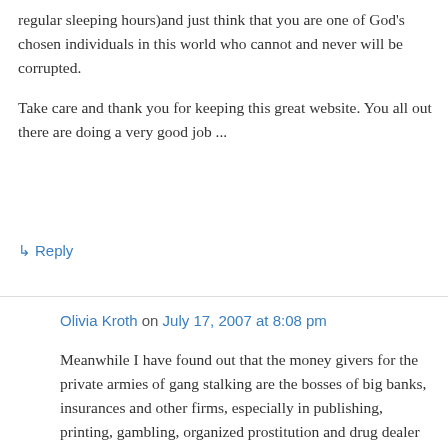regular sleeping hours)and just think that you are one of God's chosen individuals in this world who cannot and never will be corrupted.
Take care and thank you for keeping this great website. You all out there are doing a very good job ...
↳ Reply
Olivia Kroth on July 17, 2007 at 8:08 pm
Meanwhile I have found out that the money givers for the private armies of gang stalking are the bosses of big banks, insurances and other firms, especially in publishing, printing, gambling, organized prostitution and drug dealer rings.